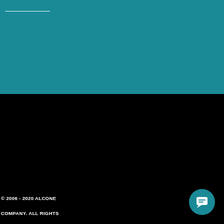© 2006 - 2020 ALCONE COMPANY. ALL RIGHTS RESERVED. CONTACT US | OUR STORY | SHIPPING & RETURNS | FAQ FOR PRODUCTS | FAQ FOR ORDERS | PRIVACY POLICY | TERMS & CONDITIONS | SITEMAP